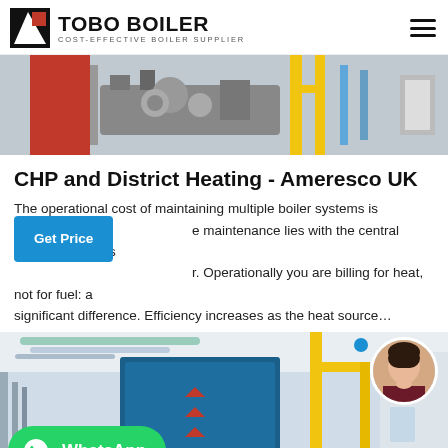TOBO BOILER COST-EFFECTIVE BOILER SUPPLIER
[Figure (photo): Industrial boiler machinery with red tank, pipes, and yellow metal structures]
CHP and District Heating - Ameresco UK
The operational cost of maintaining multiple boiler systems is maintenance lies with the central heating plant. It's r. Operationally you are billing for heat, not for fuel: a significant difference. Efficiency increases as the heat source…
[Figure (photo): Industrial boiler room with blue boiler unit, yellow crane equipment, pipes, and red machinery at the bottom. WhatsApp badge overlay and avatar photo in top right.]